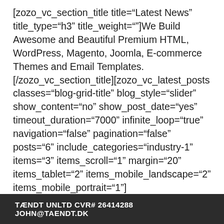[zozo_vc_section_title title="Latest News" title_type="h3" title_weight=""]We Build Awesome and Beautiful Premium HTML, WordPress, Magento, Joomla, E-commerce Themes and Email Templates.[/zozo_vc_section_title][zozo_vc_latest_posts classes="blog-grid-title" blog_style="slider" show_content="no" show_post_date="yes" timeout_duration="7000" infinite_loop="true" navigation="false" pagination="false" posts="6" include_categories="industry-1" items="3" items_scroll="1" margin="20" items_tablet="2" items_mobile_landscape="2" items_mobile_portrait="1"]
TÆNDT UNLTD CVR# 26414288 JOHN@TAENDT.DK